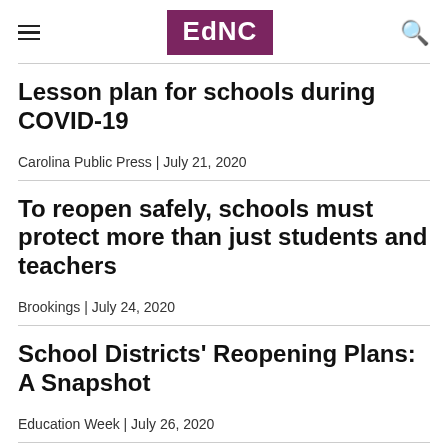EdNC
Lesson plan for schools during COVID-19
Carolina Public Press | July 21, 2020
To reopen safely, schools must protect more than just students and teachers
Brookings | July 24, 2020
School Districts' Reopening Plans: A Snapshot
Education Week | July 26, 2020